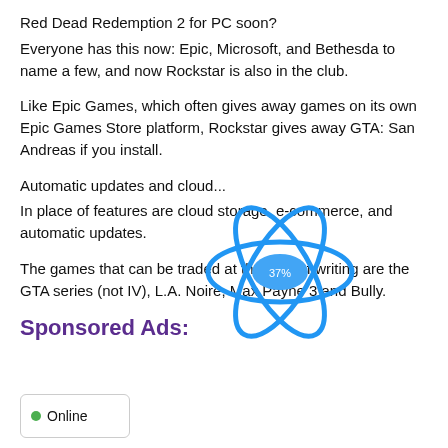Red Dead Redemption 2 for PC soon?
Everyone has this now: Epic, Microsoft, and Bethesda to name a few, and now Rockstar is also in the club.
Like Epic Games, which often gives away games on its own Epic Games Store platform, Rockstar gives away GTA: San Andreas if you install.
Automatic updates and cloud...
[Figure (logo): Blue atomic/orbits style logo with a blue oval center, overlaid on the text area]
In place of features are cloud storage, e-commerce, and automatic updates.
The games that can be traded at the time of writing are the GTA series (not IV), L.A. Noire, Max Payne 3 and Bully.
Sponsored Ads:
Online